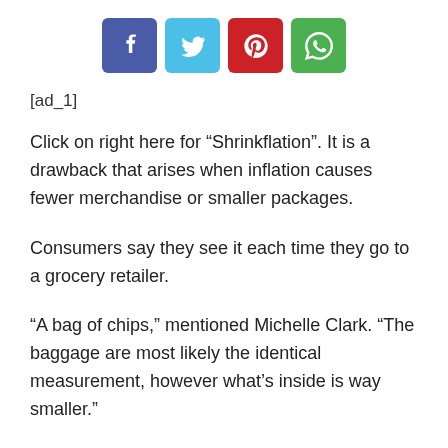[Figure (other): Social media share buttons: Facebook (blue-purple), Twitter (cyan), Pinterest (red), WhatsApp (green)]
[ad_1]
Click on right here for “Shrinkflation”. It is a drawback that arises when inflation causes fewer merchandise or smaller packages.
Consumers say they see it each time they go to a grocery retailer.
“A bag of chips,” mentioned Michelle Clark. “The baggage are most likely the identical measurement, however what’s inside is way smaller.”
Michelle Vogel agrees.